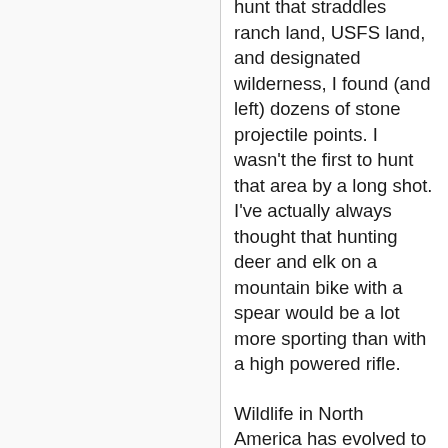hunt that straddles ranch land, USFS land, and designated wilderness, I found (and left) dozens of stone projectile points. I wasn't the first to hunt that area by a long shot. I've actually always thought that hunting deer and elk on a mountain bike with a spear would be a lot more sporting than with a high powered rifle.
Wildlife in North America has evolved to tolerate a reasonable amount of depredation by humans, and